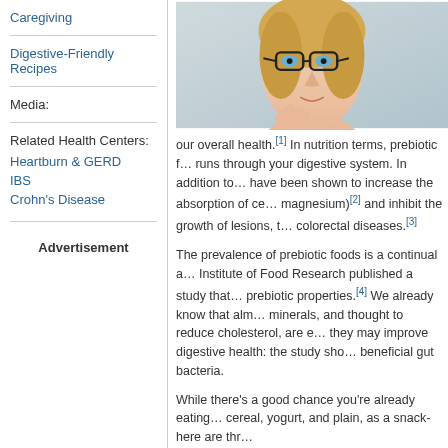Caregiving
Digestive-Friendly Recipes
Media:
Related Health Centers:
Heartburn & GERD
IBS
Crohn's Disease
Advertisement
[Figure (photo): Woman with glasses looking thoughtful, hand on chin]
our overall health.[1] In nutrition terms, prebiotic f... runs through your digestive system. In addition to... have been shown to increase the absorption of ce... magnesium)[2] and inhibit the growth of lesions, t... colorectal diseases.[3]
The prevalence of prebiotic foods is a continual a... Institute of Food Research published a study that... prebiotic properties.[4] We already know that alm... minerals, and thought to reduce cholesterol, are e... they may improve digestive health: the study sho... beneficial gut bacteria.
While there’s a good chance you’re already eating... cereal, yogurt, and plain, as a snack-here are thr...
Whole grains. This encompasses everyday foods... study, wherein two groups of people ate 48 grams... about it: or better on the gut biome in general...